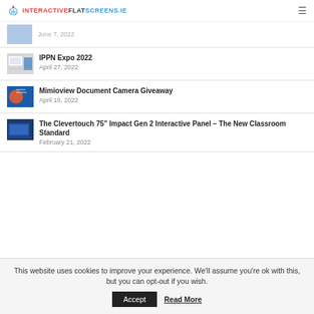INTERACTIVEFLATSCREENS.IE
June 7, 2022
IPPN Expo 2022
April 27, 2022
Mimioview Document Camera Giveaway
April 19, 2022
The Clevertouch 75” Impact Gen 2 Interactive Panel – The New Classroom Standard
February 21, 2022
This website uses cookies to improve your experience. We'll assume you're ok with this, but you can opt-out if you wish.